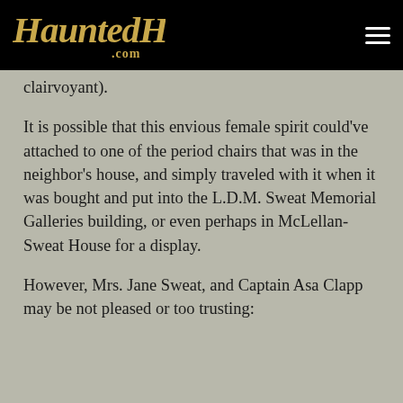HauntedHouses.com
clairvoyant).
It is possible that this envious female spirit could've attached to one of the period chairs that was in the neighbor's house, and simply traveled with it when it was bought and put into the L.D.M. Sweat Memorial Galleries building, or even perhaps in McLellan-Sweat House for a display.
However, Mrs. Jane Sweat, and Captain Asa Clapp may be not pleased or too trusting: